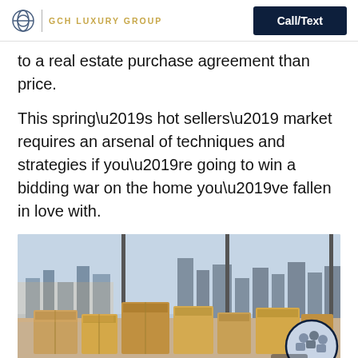GCH LUXURY GROUP | Call/Text
to a real estate purchase agreement than price.
This spring’s hot sellers’ market requires an arsenal of techniques and strategies if you’re going to win a bidding war on the home you’ve fallen in love with.
[Figure (photo): A room with large windows showing a city skyline, filled with many cardboard moving boxes stacked and scattered around, and a person partially visible in the foreground. A circular chat badge overlay appears in the bottom right corner with the label 'chat_bu...']